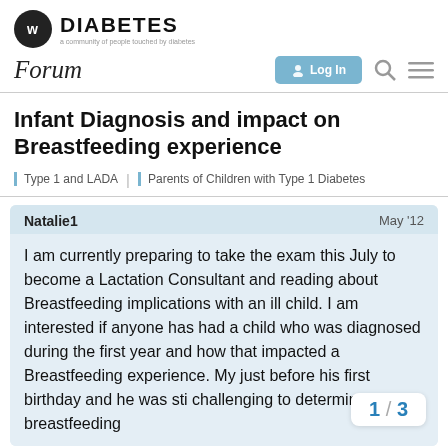DIABETES — a community of people touched by diabetes
Forum | Log In
Infant Diagnosis and impact on Breastfeeding experience
Type 1 and LADA | Parents of Children with Type 1 Diabetes
Natalie1  May '12
I am currently preparing to take the exam this July to become a Lactation Consultant and reading about Breastfeeding implications with an ill child. I am interested if anyone has had a child who was diagnosed during the first year and how that impacted a Breastfeeding experience. My just before his first birthday and he was sti challenging to determine if breastfeeding
1 / 3